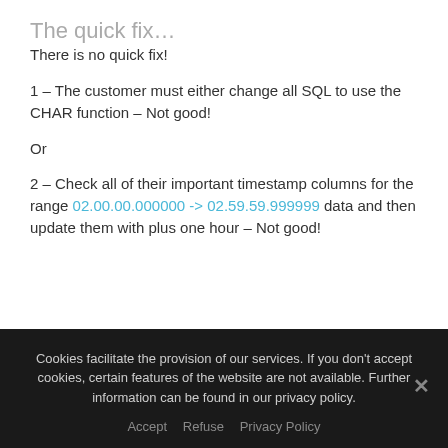The quick fix…
There is no quick fix!
1 – The customer must either change all SQL to use the CHAR function – Not good!
Or
2 – Check all of their important timestamp columns for the range 02.00.00.000000 -> 02.59.59.999999 data and then update them with plus one hour – Not good!
Cookies facilitate the provision of our services. If you don't accept cookies, certain features of the website are not available. Further information can be found in our privacy policy.
Accept   Refuse   Privacy Policy